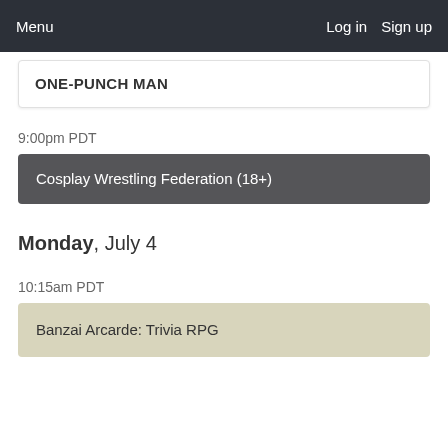Menu   Log in   Sign up
ONE-PUNCH MAN
9:00pm PDT
Cosplay Wrestling Federation (18+)
Monday, July 4
10:15am PDT
Banzai Arcarde: Trivia RPG